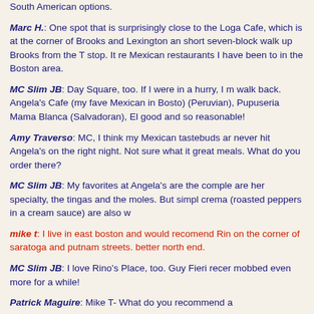South American options.
Marc H.: One spot that is surprisingly close to the Loga Cafe, which is at the corner of Brooks and Lexington an short seven-block walk up Brooks from the T stop. It re Mexican restaurants I have been to in the Boston area.
MC Slim JB: Day Square, too. If I were in a hurry, I m walk back. Angela's Cafe (my fave Mexican in Bosto) (Peruvian), Pupuseria Mama Blanca (Salvadoran), El good and so reasonable!
Amy Traverso: MC, I think my Mexican tastebuds ar never hit Angela's on the right night. Not sure what it great meals. What do you order there?
MC Slim JB: My favorites at Angela's are the comple are her specialty, the tingas and the moles. But simpl crema (roasted peppers in a cream sauce) are also w
mike t: I live in east boston and would recomend Rin on the corner of saratoga and putnam streets. better north end.
MC Slim JB: I love Rino's Place, too. Guy Fieri recer mobbed even more for a while!
Patrick Maguire: Mike T- What do you recommend a
Amy T: ...